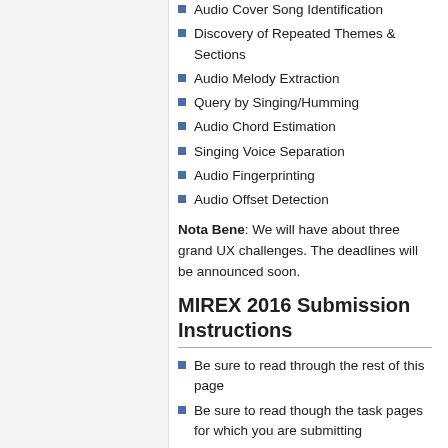Audio Cover Song Identification
Discovery of Repeated Themes & Sections
Audio Melody Extraction
Query by Singing/Humming
Audio Chord Estimation
Singing Voice Separation
Audio Fingerprinting
Audio Offset Detection
Nota Bene: We will have about three grand UX challenges. The deadlines will be announced soon.
MIREX 2016 Submission Instructions
Be sure to read through the rest of this page
Be sure to read though the task pages for which you are submitting
Be sure to follow the Best Coding Practices for MIREX
Be sure to follow the MIREX 2016